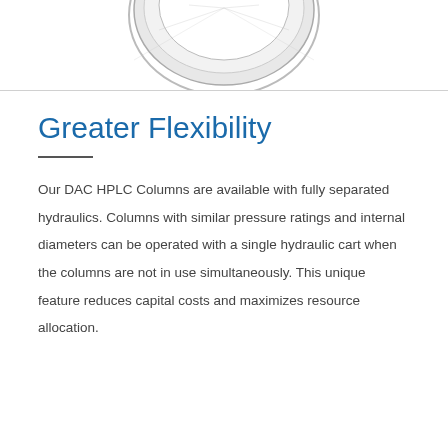[Figure (photo): Partial view of a DAC HPLC column top fitting, showing a circular metallic component, visible at the top of the page (cropped).]
Greater Flexibility
Our DAC HPLC Columns are available with fully separated hydraulics. Columns with similar pressure ratings and internal diameters can be operated with a single hydraulic cart when the columns are not in use simultaneously. This unique feature reduces capital costs and maximizes resource allocation.